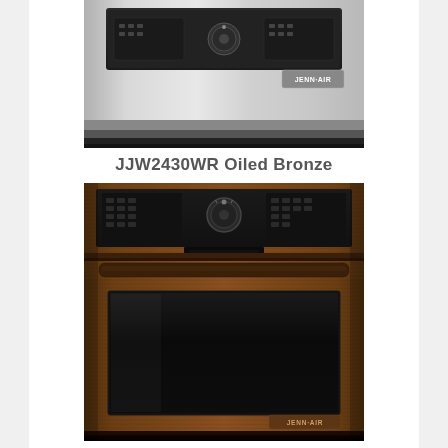[Figure (photo): Partial top view of a Jenn-Air wall oven in stainless steel finish, showing the upper control panel area with the Jenn-Air logo badge, cropped at the bottom to show only the top portion.]
JJW2430WR Oiled Bronze
[Figure (photo): Full front view of a Jenn-Air JJW2430WR single wall oven in Oiled Bronze finish. The oven has a warm dark brownish-bronze textured exterior, a black control panel at the top with a round knob in the center, a horizontal bar handle, a large dark glass oven window, and the Jenn-Air logo badge at the bottom right.]